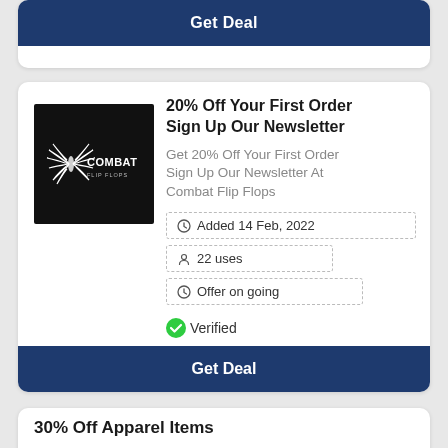Get Deal
20% Off Your First Order Sign Up Our Newsletter
Get 20% Off Your First Order Sign Up Our Newsletter At Combat Flip Flops
[Figure (logo): Combat Flip Flops logo on black background]
Added 14 Feb, 2022
22 uses
Offer on going
Verified
Get Deal
30% Off Apparel Items